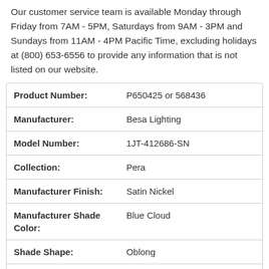Our customer service team is available Monday through Friday from 7AM - 5PM, Saturdays from 9AM - 3PM and Sundays from 11AM - 4PM Pacific Time, excluding holidays at (800) 653-6556 to provide any information that is not listed on our website.
| Product Number: | P650425 or 568436 |
| Manufacturer: | Besa Lighting |
| Model Number: | 1JT-412686-SN |
| Collection: | Pera |
| Manufacturer Finish: | Satin Nickel |
| Manufacturer Shade Color: | Blue Cloud |
| Shade Shape: | Oblong |
| Total Wattage: | 100 w. |
| Voltage Type: | Line Voltage |